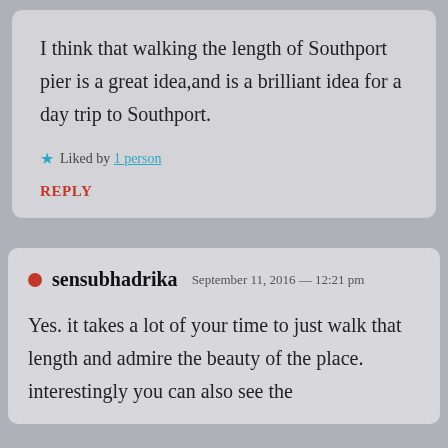I think that walking the length of Southport pier is a great idea,and is a brilliant idea for a day trip to Southport.
★ Liked by 1 person
REPLY
sensubhadrika  September 11, 2016 — 12:21 pm
Yes. it takes a lot of your time to just walk that length and admire the beauty of the place. interestingly you can also see the